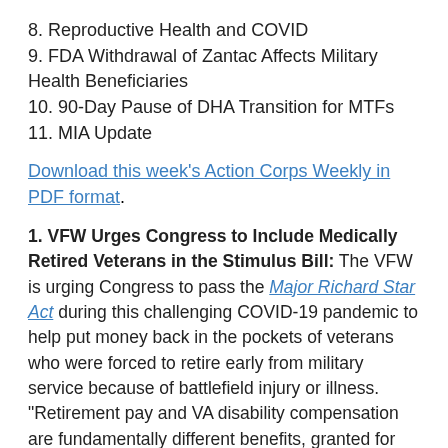8. Reproductive Health and COVID
9. FDA Withdrawal of Zantac Affects Military Health Beneficiaries
10. 90-Day Pause of DHA Transition for MTFs
11. MIA Update
Download this week's Action Corps Weekly in PDF format.
1. VFW Urges Congress to Include Medically Retired Veterans in the Stimulus Bill: The VFW is urging Congress to pass the Major Richard Star Act during this challenging COVID-19 pandemic to help put money back in the pockets of veterans who were forced to retire early from military service because of battlefield injury or illness. "Retirement pay and VA disability compensation are fundamentally different benefits, granted for different reasons," said VFW